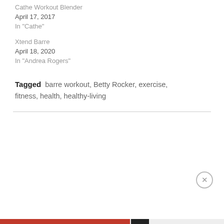Cathe Workout Blender
April 17, 2017
In "Cathe"
Xtend Barre
April 18, 2020
In "Andrea Rogers"
Tagged barre workout, Betty Rocker, exercise, fitness, health, healthy-living
Privacy & Cookies: This site uses cookies. By continuing to use this website, you agree to their use.
To find out more, including how to control cookies, see here: Cookie Policy
Close and accept